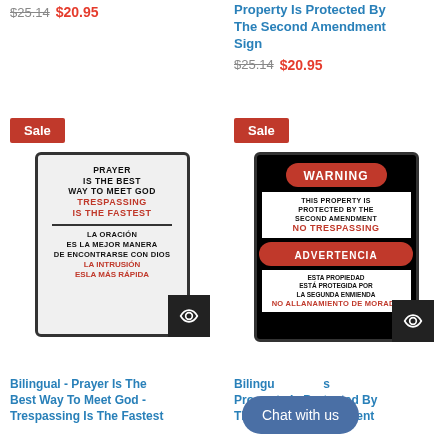$25.14 $20.95
Property Is Protected By The Second Amendment Sign $25.14 $20.95
Sale
[Figure (photo): Sign: Prayer Is The Best Way To Meet God - Trespassing Is The Fastest (bilingual English/Spanish)]
Sale
[Figure (photo): Warning sign: This Property Is Protected By The Second Amendment - No Trespassing / Advertencia - Esta Propiedad Esta Protegida Por La Segunda Enmienda - No Allanamiento De Morada]
Bilingual - Prayer Is The Best Way To Meet God - Trespassing Is The Fastest
Bilingual - This Property Is Protected By The Second Amendment